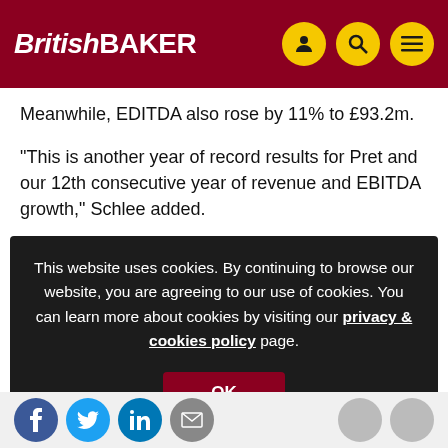British BAKER
Meanwhile, EDITDA also rose by 11% to £93.2m.
“This is another year of record results for Pret and our 12th consecutive year of revenue and EBITDA growth,” Schlee added.
“Pret’s simple recipe of freshly made food and fast, friendly se... w... Ex...
This website uses cookies. By continuing to browse our website, you are agreeing to our use of cookies. You can learn more about cookies by visiting our privacy & cookies policy page.
Social share icons row